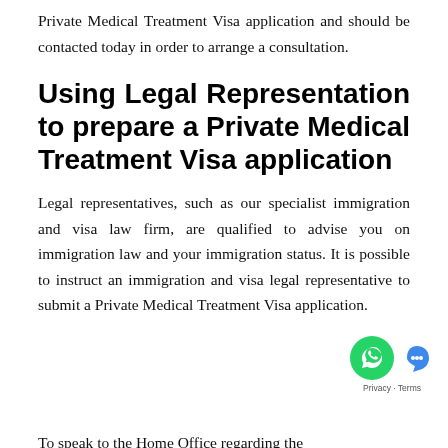Private Medical Treatment Visa application and should be contacted today in order to arrange a consultation.
Using Legal Representation to prepare a Private Medical Treatment Visa application
Legal representatives, such as our specialist immigration and visa law firm, are qualified to advise you on immigration law and your immigration status. It is possible to instruct an immigration and visa legal representative to submit a Private Medical Treatment Visa application.
To speak to the Home Office regarding the